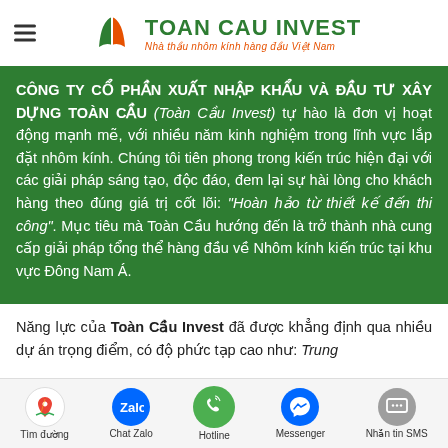TOAN CAU INVEST - Nhà thầu nhôm kính hàng đầu Việt Nam
CÔNG TY CỔ PHẦN XUẤT NHẬP KHẨU VÀ ĐẦU TƯ XÂY DỰNG TOÀN CẦU (Toàn Cầu Invest) tự hào là đơn vị hoạt động mạnh mẽ, với nhiều năm kinh nghiệm trong lĩnh vực lắp đặt nhôm kính. Chúng tôi tiên phong trong kiến trúc hiện đại với các giải pháp sáng tạo, độc đáo, đem lại sự hài lòng cho khách hàng theo đúng giá trị cốt lõi: "Hoàn hảo từ thiết kế đến thi công". Mục tiêu mà Toàn Cầu hướng đến là trở thành nhà cung cấp giải pháp tổng thể hàng đầu về Nhôm kính kiến trúc tại khu vực Đông Nam Á.
Năng lực của Toàn Cầu Invest đã được khẳng định qua nhiều dự án trọng điểm, có độ phức tạp cao như: Trung
Tìm đường | Chat Zalo | Hotline | Messenger | Nhắn tin SMS